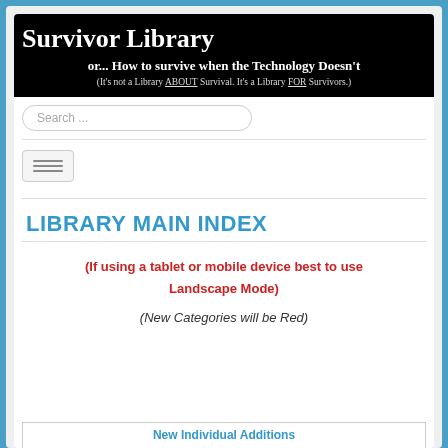[Figure (screenshot): Survivor Library website screenshot showing banner, search box, navigation menu button, main index heading, and notices about tablet/mobile device use and new categories.]
Survivor Library
or... How to survive when the Technology Doesn't
(It's not a Library ABOUT Survival. It's a Library FOR Survivors.)
LIBRARY MAIN INDEX
(If using a tablet or mobile device best to use Landscape Mode)
(New Categories will be Red)
New Individual Additions